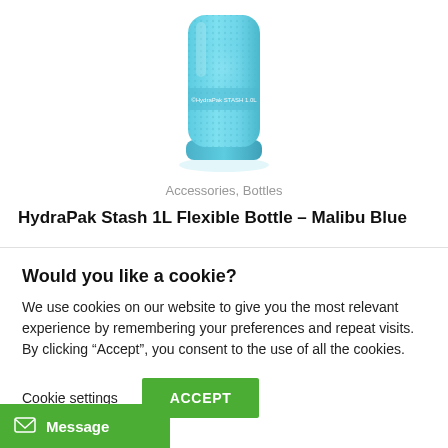[Figure (photo): A light blue HydraPak Stash 1L flexible water bottle with textured surface and HydraPak branding label, shown upright on a white background.]
Accessories, Bottles
HydraPak Stash 1L Flexible Bottle – Malibu Blue
Would you like a cookie?
We use cookies on our website to give you the most relevant experience by remembering your preferences and repeat visits. By clicking “Accept”, you consent to the use of all the cookies.
Cookie settings
ACCEPT
Message